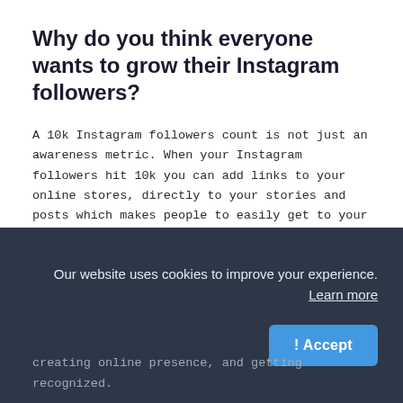Why do you think everyone wants to grow their Instagram followers?
A 10k Instagram followers count is not just an awareness metric. When your Instagram followers hit 10k you can add links to your online stores, directly to your stories and posts which makes people to easily get to your website through the swipe up to link feature rather than telling your friends to check link in bio. You will be famous and can reach out to thousands of people. As a Instagrammer you get paid from campaigns.
Instagram “influencers,” as the industry calls them, team up with businesses to promote products or brand campaigns on
[Figure (screenshot): Cookie consent banner overlay on dark blue-gray background (#2d3748) with text 'Our website uses cookies to improve your experience. Learn more' and an '! Accept' button in blue.]
creating online presence, and getting recognized.